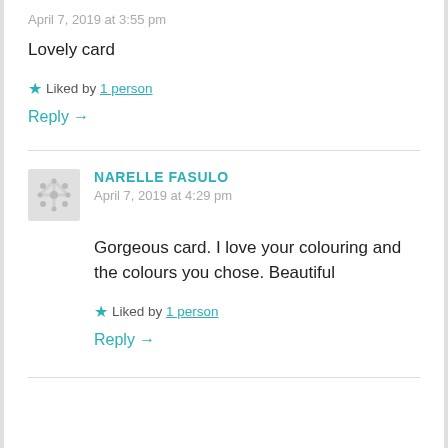April 7, 2019 at 3:55 pm
Lovely card
★ Liked by 1 person
Reply →
NARELLE FASULO
April 7, 2019 at 4:29 pm
Gorgeous card. I love your colouring and the colours you chose. Beautiful
★ Liked by 1 person
Reply →